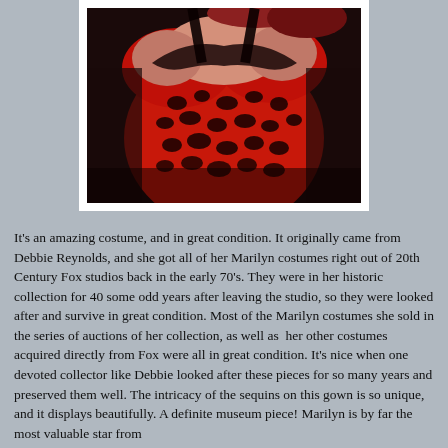[Figure (photo): Close-up photograph of a red and black leopard print costume or gown top, worn by a person against a dark background. The garment has black lace trim along the neckline.]
It's an amazing costume, and in great condition. It originally came from Debbie Reynolds, and she got all of her Marilyn costumes right out of 20th Century Fox studios back in the early 70's. They were in her historic collection for 40 some odd years after leaving the studio, so they were looked after and survive in great condition. Most of the Marilyn costumes she sold in the series of auctions of her collection, as well as  her other costumes acquired directly from Fox were all in great condition. It's nice when one devoted collector like Debbie looked after these pieces for so many years and preserved them well. The intricacy of the sequins on this gown is so unique, and it displays beautifully. A definite museum piece! Marilyn is by far the most valuable star from